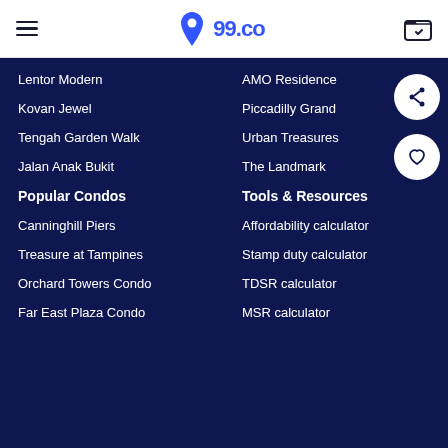99.co
Lentor Modern
AMO Residence
Kovan Jewel
Piccadilly Grand
Tengah Garden Walk
Urban Treasures
Jalan Anak Bukit
The Landmark
Popular Condos
Tools & Resources
Canninghill Piers
Affordability calculator
Treasure at Tampines
Stamp duty calculator
Orchard Towers Condo
TDSR calculator
Far East Plaza Condo
MSR calculator